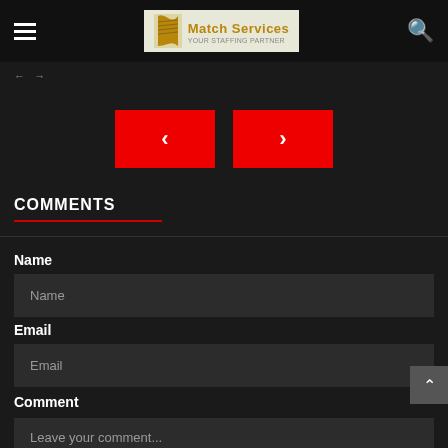Match Services
< >
COMMENTS
Name
Name (input field placeholder)
Email
Email (input field placeholder)
Comment
Leave your comment...